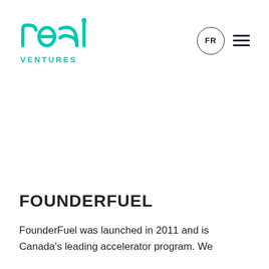[Figure (logo): Real Ventures logo in teal/turquoise with stylized 'real' wordmark and 'VENTURES' below]
FOUNDERFUEL
FounderFuel was launched in 2011 and is Canada's leading accelerator program. We